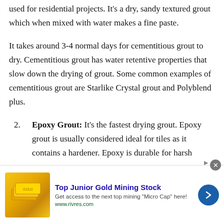used for residential projects. It's a dry, sandy textured grout which when mixed with water makes a fine paste.
It takes around 3-4 normal days for cementitious grout to dry. Cementitious grout has water retentive properties that slow down the drying of grout. Some common examples of cementitious grout are Starlike Crystal grout and Polyblend plus.
2. Epoxy Grout: It's the fastest drying grout. Epoxy grout is usually considered ideal for tiles as it contains a hardener. Epoxy is durable for harsh
[Figure (infographic): Advertisement banner for Top Junior Gold Mining Stock from www.rivres.com with gold bar image, arrow button, and close button]